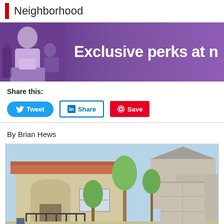Neighborhood
[Figure (photo): Advertisement banner with purple background showing a person using a tablet and text 'Exclusive perks at n']
Share this:
[Figure (screenshot): Share buttons: Tweet (Twitter/blue), Share (LinkedIn/outlined), Save (Pinterest/red)]
By Brian Hews
[Figure (photo): Photo of a suburban house with stucco exterior, tiled roof, arched entrance, and landscaping with small trees]